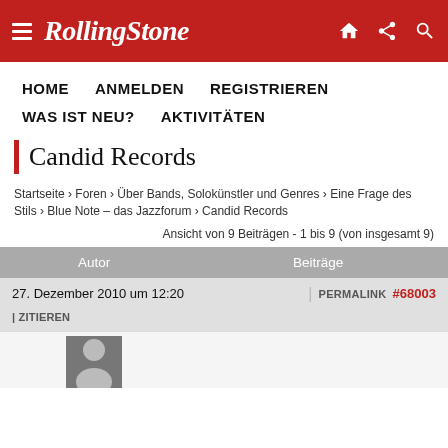Rolling Stone
HOME
ANMELDEN
REGISTRIEREN
WAS IST NEU?
AKTIVITÄTEN
Candid Records
Startseite › Foren › Über Bands, Solokünstler und Genres › Eine Frage des Stils › Blue Note – das Jazzforum › Candid Records
Ansicht von 9 Beiträgen - 1 bis 9 (von insgesamt 9)
| Autor | Beiträge |
| --- | --- |
| 27. Dezember 2010 um 12:20 | ZITIEREN | PERMALINK #68003 |
[Figure (photo): User avatar thumbnail]